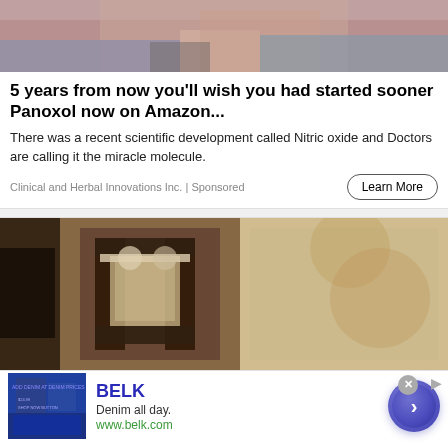[Figure (photo): Partial view of a person wearing a pink top and jeans, seated or reclining]
5 years from now you'll wish you had started sooner Panoxol now on Amazon...
There was a recent scientific development called Nitric oxide and Doctors are calling it the miracle molecule.
Clinical and Herbal Innovations Inc. | Sponsored
[Figure (photo): Close-up photo of a dark metal outdoor wall lantern/light fixture mounted on a textured stucco wall]
BELK
Denim all day.
www.belk.com